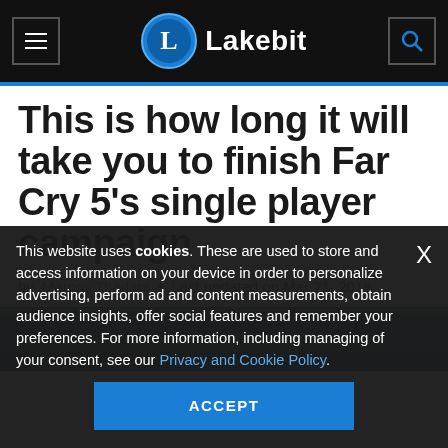Lakebit
This is how long it will take you to finish Far Cry 5's single player campaign
by Marcos Thadani • Last updated on Mar 21, 2018
This website uses cookies. These are used to store and access information on your device in order to personalize advertising, perform ad and content measurements, obtain audience insights, offer social features and remember your preferences. For more information, including managing of your consent, see our Privacy and Cookie Policy.
ACCEPT